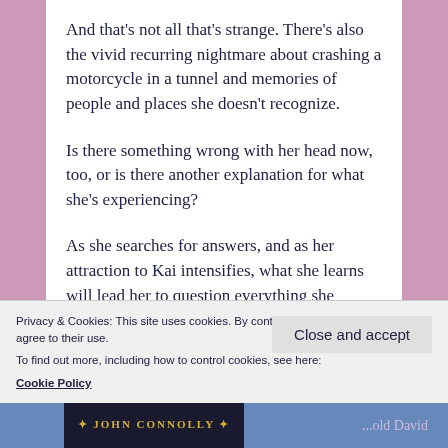And that’s not all that’s strange. There’s also the vivid recurring nightmare about crashing a motorcycle in a tunnel and memories of people and places she doesn’t recognize.
Is there something wrong with her head now, too, or is there another explanation for what she’s experiencing?
As she searches for answers, and as her attraction to Kai intensifies, what she learns will lead her to question everything she thought she knew—about
Privacy & Cookies: This site uses cookies. By continuing to use this website, you agree to their use.
To find out more, including how to control cookies, see here: Cookie Policy
Close and accept
[Figure (other): Partial book cover at bottom of page showing decorative text that reads JOHN CONNOLLY in gold on dark background, partially visible]
...old David